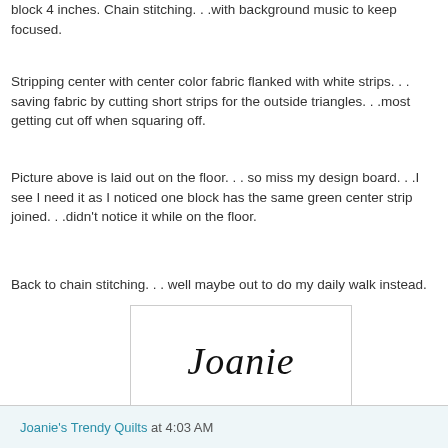block 4 inches. Chain stitching. . .with background music to keep focused.
Stripping center with center color fabric flanked with white strips. . . saving fabric by cutting short strips for the outside triangles. . .most getting cut off when squaring off.
Picture above is laid out on the floor. . . so miss my design board. . .I see I need it as I noticed one block has the same green center strip joined. . .didn't notice it while on the floor.
Back to chain stitching. . . well maybe out to do my daily walk instead.
[Figure (illustration): A cursive signature reading 'Joanie' in black italic script on white background, inside a light gray bordered rectangle.]
Joanie's Trendy Quilts at 4:03 AM